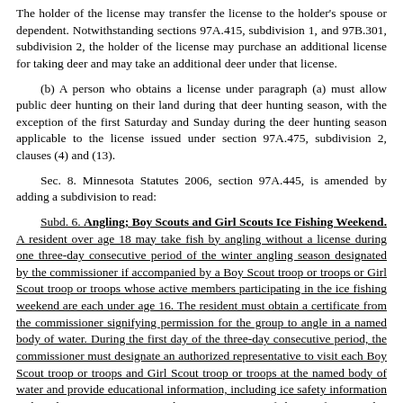The holder of the license may transfer the license to the holder's spouse or dependent. Notwithstanding sections 97A.415, subdivision 1, and 97B.301, subdivision 2, the holder of the license may purchase an additional license for taking deer and may take an additional deer under that license.
(b) A person who obtains a license under paragraph (a) must allow public deer hunting on their land during that deer hunting season, with the exception of the first Saturday and Sunday during the deer hunting season applicable to the license issued under section 97A.475, subdivision 2, clauses (4) and (13).
Sec. 8. Minnesota Statutes 2006, section 97A.445, is amended by adding a subdivision to read:
Subd. 6. Angling; Boy Scouts and Girl Scouts Ice Fishing Weekend. A resident over age 18 may take fish by angling without a license during one three-day consecutive period of the winter angling season designated by the commissioner if accompanied by a Boy Scout troop or troops or Girl Scout troop or troops whose active members participating in the ice fishing weekend are each under age 16. The resident must obtain a certificate from the commissioner signifying permission for the group to angle in a named body of water. During the first day of the three-day consecutive period, the commissioner must designate an authorized representative to visit each Boy Scout troop or troops and Girl Scout troop or troops at the named body of water and provide educational information, including ice safety information and angling instruction. A resident in possession of the certificate is also exempt from any fish house and dark house licensing fees levied under section 97A.475, subdivision 11, during the three-day period. The commissioner shall publicize the three-day period as "Boy Scouts and Girl Scouts Ice Fishing Weekend."